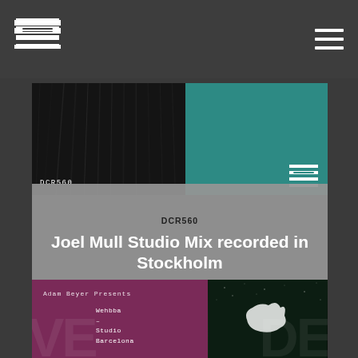Drumcode Radio — Header with logo and hamburger menu
[Figure (screenshot): DCR560 episode artwork showing dark textured left half and teal right half with Drumcode logo]
DCR560
Joel Mull Studio Mix recorded in Stockholm
Radio
[Figure (screenshot): Adam Beyer Presents — Wehbba Studio Barcelona, purple background with large decorative text]
[Figure (photo): Dark aerial/nature photo with white object on dark green foliage background, with Drumcode ODE overlay text]